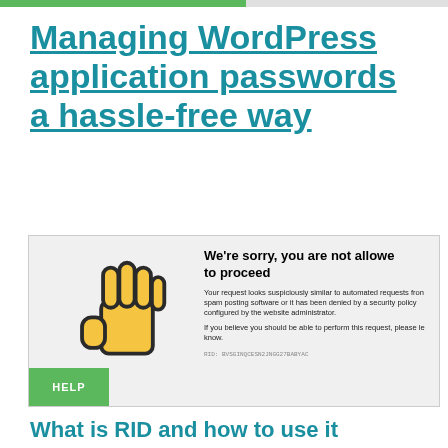Managing WordPress application passwords a hassle-free way
[Figure (screenshot): A browser error page showing a stop-hand emoji and the message: We're sorry, you are not allowed to proceed. Your request looks suspiciously similar to automated requests from spam posting software or it has been denied by a security policy configured by the website administrator. If you believe you should be able to perform this request, please let us know. RID: BVSGINQCESN2JNGG27BABYAC. A green HELP button appears at the bottom left.]
What is RID and how to use it